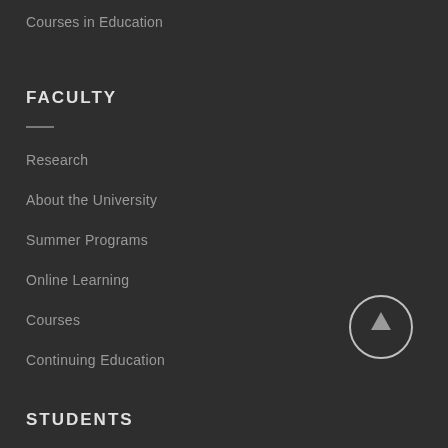Courses in Education
FACULTY
Research
About the University
Summer Programs
Online Learning
Courses
Continuing Education
[Figure (illustration): Circle button with upward arrow icon for scrolling to top]
STUDENTS